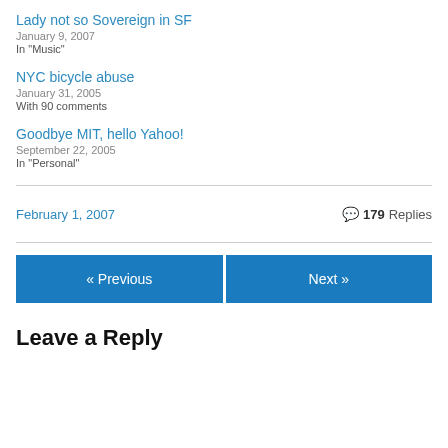Lady not so Sovereign in SF
January 9, 2007
In "Music"
NYC bicycle abuse
January 31, 2005
With 90 comments
Goodbye MIT, hello Yahoo!
September 22, 2005
In "Personal"
February 1, 2007   179 Replies
« Previous   Next »
Leave a Reply